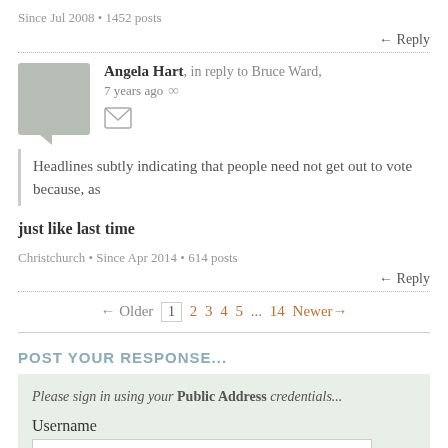Since Jul 2008 • 1452 posts
← Reply
Angela Hart, in reply to Bruce Ward, 7 years ago ∞
Headlines subtly indicating that people need not get out to vote because, as
just like last time
Christchurch • Since Apr 2014 • 614 posts
← Reply
← Older  1  2  3  4  5  ...14  Newer→
POST YOUR RESPONSE...
Please sign in using your Public Address credentials...
Username